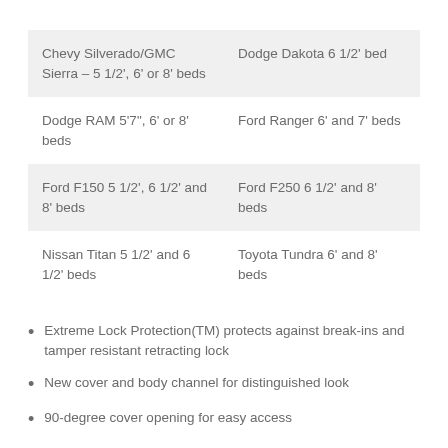| Chevy Silverado/GMC Sierra – 5 1/2', 6' or 8' beds | Dodge Dakota 6 1/2' bed |
| Dodge RAM 5'7", 6' or 8' beds | Ford Ranger 6' and 7' beds |
| Ford F150 5 1/2', 6 1/2' and 8' beds | Ford F250 6 1/2' and 8'  beds |
| Nissan Titan 5 1/2' and 6 1/2' beds | Toyota Tundra 6' and 8' beds |
Extreme Lock Protection(TM) protects against break-ins and tamper resistant retracting lock
New cover and body channel for distinguished look
90-degree cover opening for easy access